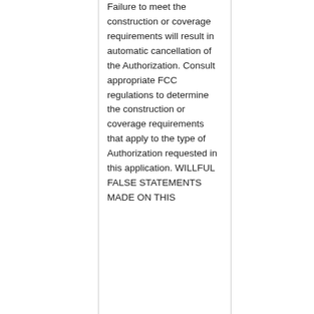Failure to meet the construction or coverage requirements will result in automatic cancellation of the Authorization. Consult appropriate FCC regulations to determine the construction or coverage requirements that apply to the type of Authorization requested in this application. WILLFUL FALSE STATEMENTS MADE ON THIS